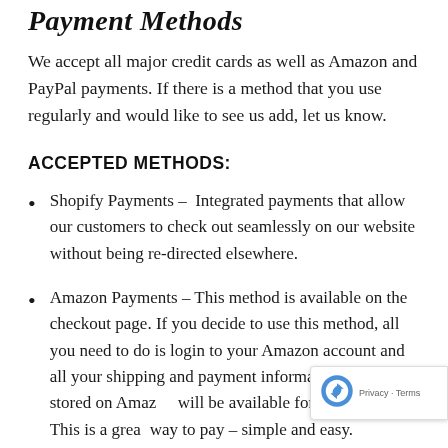Payment Methods
We accept all major credit cards as well as Amazon and PayPal payments. If there is a method that you use regularly and would like to see us add, let us know.
ACCEPTED METHODS:
Shopify Payments –  Integrated payments that allow our customers to check out seamlessly on our website without being re-directed elsewhere.
Amazon Payments – This method is available on the checkout page. If you decide to use this method, all you need to do is login to your Amazon account and all your shipping and payment information that is stored on Amazon will be available for you to use. This is a great way to pay – simple and easy.